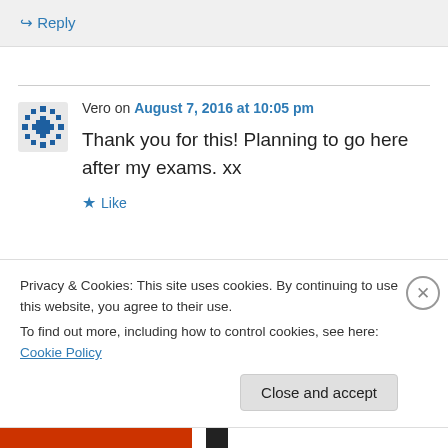↪ Reply
Vero on August 7, 2016 at 10:05 pm
Thank you for this! Planning to go here after my exams. xx
★ Like
Privacy & Cookies: This site uses cookies. By continuing to use this website, you agree to their use.
To find out more, including how to control cookies, see here: Cookie Policy
Close and accept